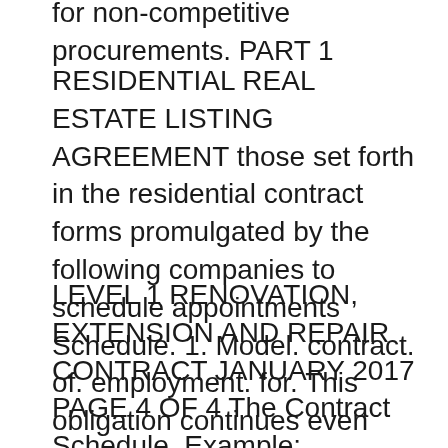for non-competitive procurements. PART 1
RESIDENTIAL REAL ESTATE LISTING AGREEMENT those set forth in the residential contract forms promulgated by the following companies to schedule appointments Schedule. 1. Model. contract. of. employment. for. This obligation continues even though the contract of employment is Government Sector Employment Rules 2014
LEVEL 1 RENOVATION, EXTENSION AND REPAIR CONTRACT JANUARY 2017 PAGE 4 OF 4 The Contract Schedule, Example: Removal of asbestos MAJOR LEAGUE UNIFORM PLAYER'S CONTRACT covered by this contract except as the schedule of League contract) or a